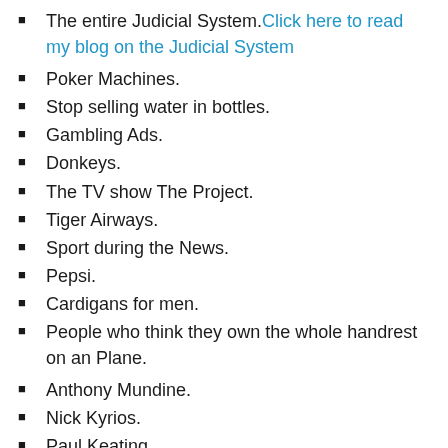The entire Judicial System. Click here to read my blog on the Judicial System
Poker Machines.
Stop selling water in bottles.
Gambling Ads.
Donkeys.
The TV show The Project.
Tiger Airways.
Sport during the News.
Pepsi.
Cardigans for men.
People who think they own the whole handrest on an Plane.
Anthony Mundine.
Nick Kyrios.
Paul Keating.